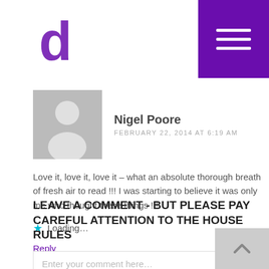d (logo) with hamburger menu
Nigel Poore
FEBRUARY 22, 2014 AT 6:19 AM
Love it, love it, love it – what an absolute thorough breath of fresh air to read !!! I was starting to believe it was only me who thought these things !!!
Loading...
Reply
LEAVE A COMMENT - BUT PLEASE PAY CAREFUL ATTENTION TO THE HOUSE RULES
Enter your comment here...